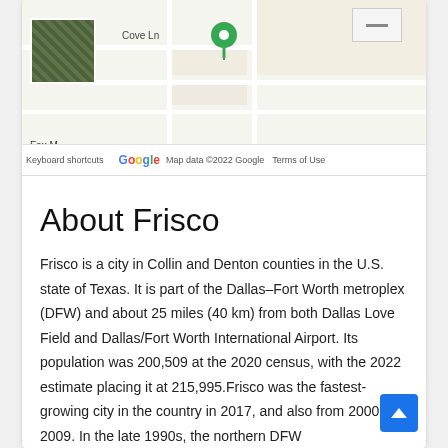[Figure (screenshot): Google Maps screenshot showing a location in Frisco area with a green map pin, satellite thumbnail in the lower left, and map footer with Google logo, keyboard shortcuts, map data copyright 2022 Google, and Terms of Use.]
About Frisco
Frisco is a city in Collin and Denton counties in the U.S. state of Texas. It is part of the Dallas–Fort Worth metroplex (DFW) and about 25 miles (40 km) from both Dallas Love Field and Dallas/Fort Worth International Airport. Its population was 200,509 at the 2020 census, with the 2022 estimate placing it at 215,995.Frisco was the fastest-growing city in the country in 2017, and also from 2000 to 2009. In the late 1990s, the northern DFW